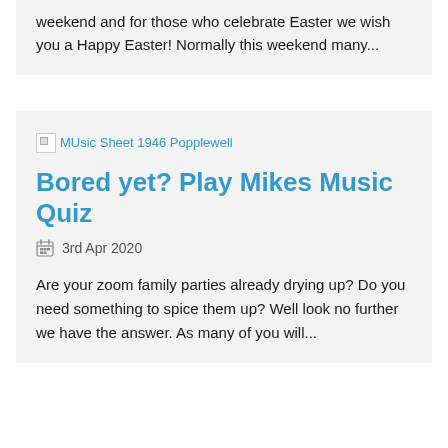weekend and for those who celebrate Easter we wish you a Happy Easter! Normally this weekend many...
[Figure (other): Broken image placeholder with alt text: MUsic Sheet 1946 Popplewell]
Bored yet? Play Mikes Music Quiz
3rd Apr 2020
Are your zoom family parties already drying up? Do you need something to spice them up? Well look no further we have the answer. As many of you will...